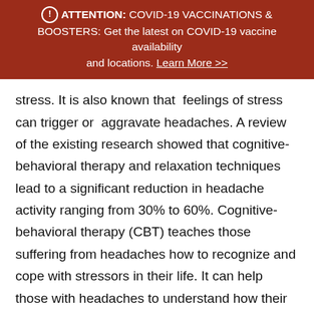ATTENTION: COVID-19 VACCINATIONS & BOOSTERS: Get the latest on COVID-19 vaccine availability and locations. Learn More >>
stress. It is also known that  feelings of stress can trigger or  aggravate headaches. A review of the existing research showed that cognitive-behavioral therapy and relaxation techniques lead to a significant reduction in headache activity ranging from 30% to 60%. Cognitive-behavioral therapy (CBT) teaches those suffering from headaches how to recognize and cope with stressors in their life. It can help those with headaches to understand how their thoughts and behavior patterns may affect their symptoms, and how to